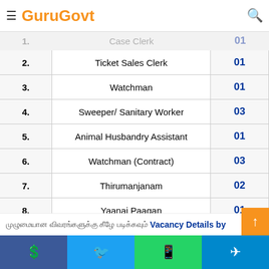GuruGovt
| S.No. | Post Name | Total Posts |
| --- | --- | --- |
| 1. | Case Clerk | 01 |
| 2. | Ticket Sales Clerk | 01 |
| 3. | Watchman | 01 |
| 4. | Sweeper/ Sanitary Worker | 03 |
| 5. | Animal Husbandry Assistant | 01 |
| 6. | Watchman (Contract) | 03 |
| 7. | Thirumanjanam | 02 |
| 8. | Yaanai Paagan | 01 |
Vacancy Details by